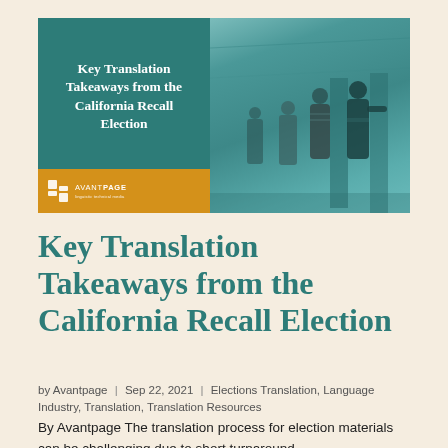[Figure (illustration): Cover image for article: left side has teal background with white bold title text 'Key Translation Takeaways from the California Recall Election' and a gold/yellow band at the bottom with the Avantpage logo; right side shows a teal-tinted photo of people at voting booths]
Key Translation Takeaways from the California Recall Election
by Avantpage | Sep 22, 2021 | Elections Translation, Language Industry, Translation, Translation Resources
By Avantpage The translation process for election materials can be challenging due to short turnaround